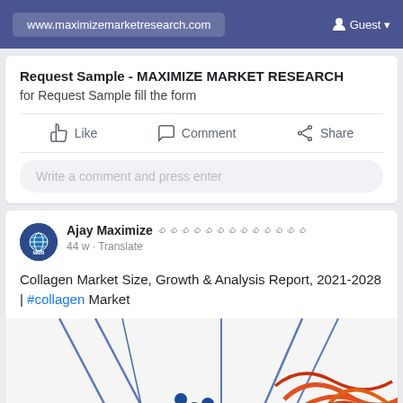www.maximizemarketresearch.com  Guest
Request Sample - MAXIMIZE MARKET RESEARCH
for Request Sample fill the form
Like  Comment  Share
Write a comment and press enter
Ajay Maximize  44 w - Translate
Collagen Market Size, Growth & Analysis Report, 2021-2028 | #collagen Market
[Figure (illustration): Partial decorative image at bottom showing abstract lines and colored dots/circles in blue, orange, and red, partially cut off]